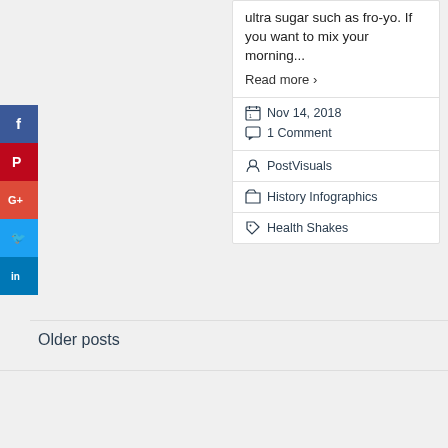ultra sugar such as fro-yo. If you want to mix your morning...
Read more ›
Nov 14, 2018
1 Comment
PostVisuals
History Infographics
Health Shakes
[Figure (infographic): Social media sharing sidebar with Facebook, Pinterest, Google+, Twitter, and LinkedIn buttons]
Older posts